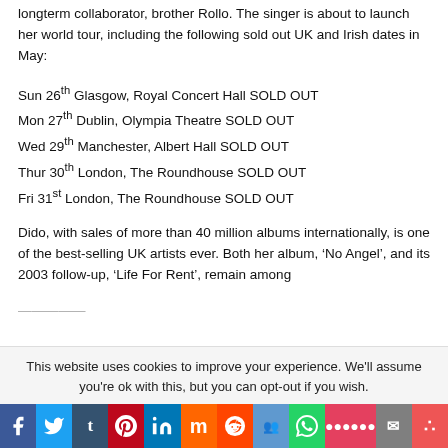longterm collaborator, brother Rollo. The singer is about to launch her world tour, including the following sold out UK and Irish dates in May:
Sun 26th Glasgow, Royal Concert Hall SOLD OUT
Mon 27th Dublin, Olympia Theatre SOLD OUT
Wed 29th Manchester, Albert Hall SOLD OUT
Thur 30th London, The Roundhouse SOLD OUT
Fri 31st London, The Roundhouse SOLD OUT
Dido, with sales of more than 40 million albums internationally, is one of the best-selling UK artists ever. Both her album, ‘No Angel’, and its 2003 follow-up, ‘Life For Rent’, remain among
[truncated]
This website uses cookies to improve your experience. We'll assume you're ok with this, but you can opt-out if you wish.